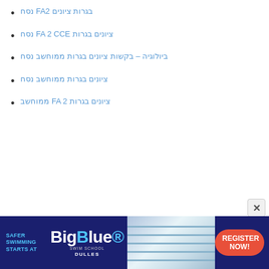נסח FA2 בגרות ציונים
נסח FA 2 CCE ציונים בגרות
ביולוגיה – בקשות ציונים בגרות ממוחשב נסח
ציונים בגרות ממוחשב נסח
ממוחשב FA 2 ציונים בגרות
[Figure (photo): BigBlue Swim School advertisement banner with text 'SAFER SWIMMING STARTS AT' on the left, BigBlue Swim School logo in the center, a swimming pool photo in the background, and an orange 'REGISTER NOW!' button on the right. Location shown: DULLES]